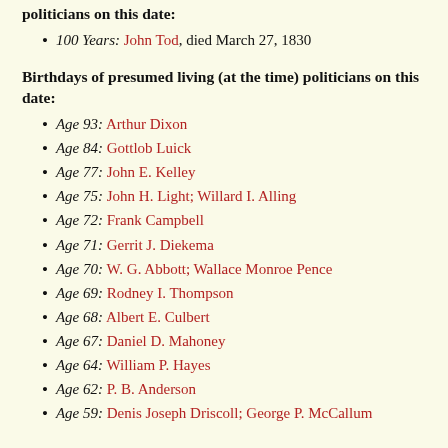politicians on this date:
100 Years: John Tod, died March 27, 1830
Birthdays of presumed living (at the time) politicians on this date:
Age 93: Arthur Dixon
Age 84: Gottlob Luick
Age 77: John E. Kelley
Age 75: John H. Light; Willard I. Alling
Age 72: Frank Campbell
Age 71: Gerrit J. Diekema
Age 70: W. G. Abbott; Wallace Monroe Pence
Age 69: Rodney I. Thompson
Age 68: Albert E. Culbert
Age 67: Daniel D. Mahoney
Age 64: William P. Hayes
Age 62: P. B. Anderson
Age 59: Denis Joseph Driscoll; George P. McCallum